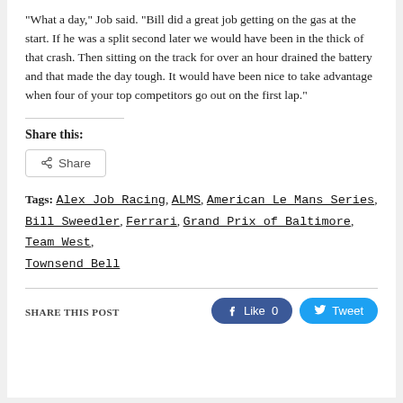“What a day,” Job said. “Bill did a great job getting on the gas at the start. If he was a split second later we would have been in the thick of that crash. Then sitting on the track for over an hour drained the battery and that made the day tough. It would have been nice to take advantage when four of your top competitors go out on the first lap.”
Share this:
Share
Tags: Alex Job Racing, ALMS, American Le Mans Series, Bill Sweedler, Ferrari, Grand Prix of Baltimore, Team West, Townsend Bell
SHARE THIS POST
Like 0
Tweet